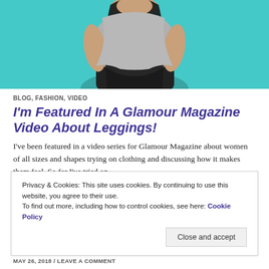[Figure (photo): A woman with long dark hair wearing a grey tied t-shirt and dark pants, posing against a teal/cyan background. Photo is cropped at the waist/torso area.]
BLOG, FASHION, VIDEO
I'm Featured In A Glamour Magazine Video About Leggings!
I've been featured in a video series for Glamour Magazine about women of all sizes and shapes trying on clothing and discussing how it makes them feel. So far I've tried on
Privacy & Cookies: This site uses cookies. By continuing to use this website, you agree to their use.
To find out more, including how to control cookies, see here: Cookie Policy
Close and accept
MAY 26, 2018 / LEAVE A COMMENT